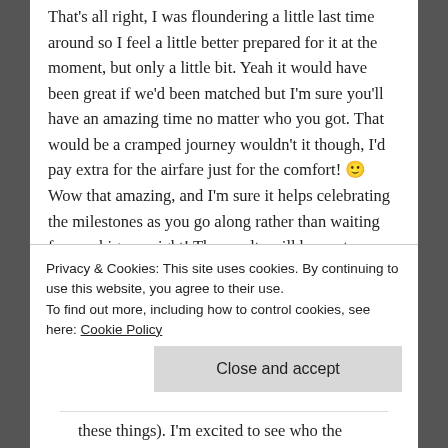That's all right, I was floundering a little last time around so I feel a little better prepared for it at the moment, but only a little bit. Yeah it would have been great if we'd been matched but I'm sure you'll have an amazing time no matter who you got. That would be a cramped journey wouldn't it though, I'd pay extra for the airfare just for the comfort! 🙂 Wow that amazing, and I'm sure it helps celebrating the milestones as you go along rather than waiting for one big one right! The results will be next weekend, either
Privacy & Cookies: This site uses cookies. By continuing to use this website, you agree to their use. To find out more, including how to control cookies, see here: Cookie Policy
Close and accept
these things). I'm excited to see who the